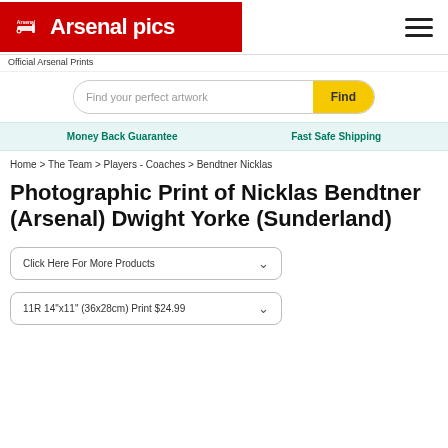Arsenal pics
Official Arsenal Prints
Find your perfect artwork
Money Back Guarantee   Fast Safe Shipping
Home > The Team > Players - Coaches > Bendtner Nicklas
Photographic Print of Nicklas Bendtner (Arsenal) Dwight Yorke (Sunderland)
Click Here For More Products
11R 14"x11" (36x28cm) Print $24.99